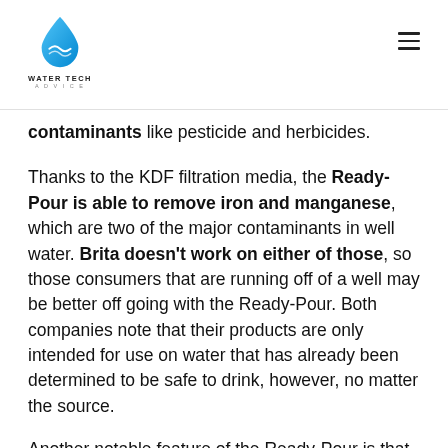WATER TECH ADVICE
contaminants like pesticide and herbicides.
Thanks to the KDF filtration media, the Ready-Pour is able to remove iron and manganese, which are two of the major contaminants in well water. Brita doesn't work on either of those, so those consumers that are running off of a well may be better off going with the Ready-Pour. Both companies note that their products are only intended for use on water that has already been determined to be safe to drink, however, no matter the source.
Another notable feature of the Ready-Pour is that it reduces TDS, which includes hardness-causing